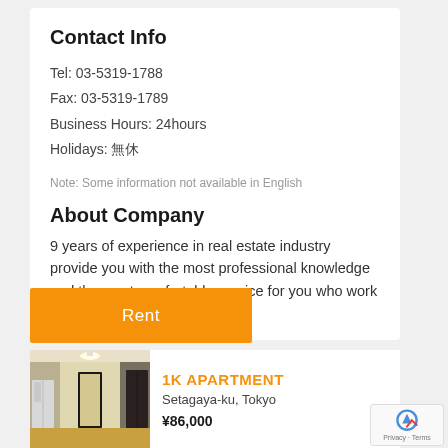Contact Info
Tel: 03-5319-1788
Fax: 03-5319-1789
Business Hours: 24hours
Holidays: 無休
Note: Some information not available in English
About Company
9 years of experience in real estate industry provide you with the most professional knowledge and the most comfortable service for you who work and live in Japan.
Rent
[Figure (photo): Interior hallway photo of a Japanese apartment]
1K APARTMENT
Setagaya-ku, Tokyo
¥86,000